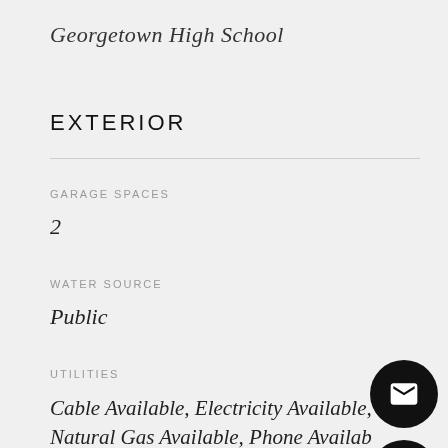Georgetown High School
EXTERIOR
GARAGE SPACES
2
WATER SOURCE
Public
UTILITIES
Cable Available, Electricity Available, Natural Gas Available, Phone Available, Sewer Available, Water Available
LOT FEATURES